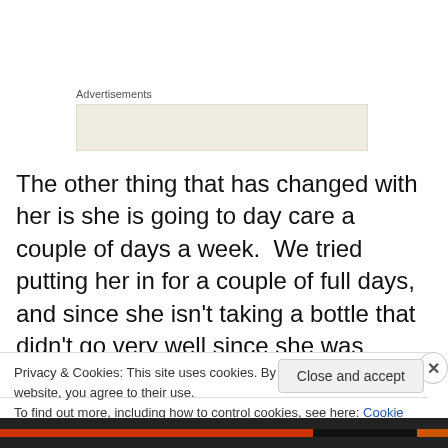Advertisements
[Figure (other): Advertisement placeholder box (beige/tan background)]
The other thing that has changed with her is she is going to day care a couple of days a week.  We tried putting her in for a couple of full days, and since she isn't taking a bottle that didn't go very well since she was adjusting to a new place, new people, not getting her milk, and couldn't seem to settle for her naps.  So she is now going 2 days
Privacy & Cookies: This site uses cookies. By continuing to use this website, you agree to their use.
To find out more, including how to control cookies, see here: Cookie Policy
Close and accept